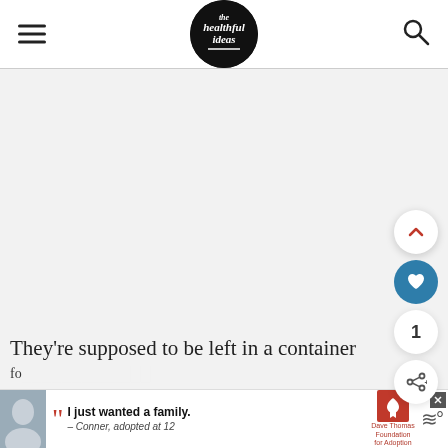the healthful ideas
[Figure (screenshot): Large white/light grey content area with a floating like/share button panel on the right side]
They're supposed to be left in a container fo...
[Figure (other): Advertisement banner: Dave Thomas Foundation for Adoption - I just wanted a family. – Conner, adopted at 12]